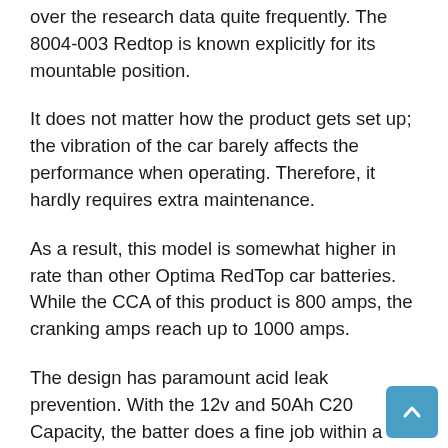over the research data quite frequently. The 8004-003 Redtop is known explicitly for its mountable position.
It does not matter how the product gets set up; the vibration of the car barely affects the performance when operating. Therefore, it hardly requires extra maintenance.
As a result, this model is somewhat higher in rate than other Optima RedTop car batteries.  While the CCA of this product is 800 amps, the cranking amps reach up to 1000 amps.
The design has paramount acid leak prevention. With the 12v and 50Ah C20 Capacity, the battery does a fine job within a polypropylene case.